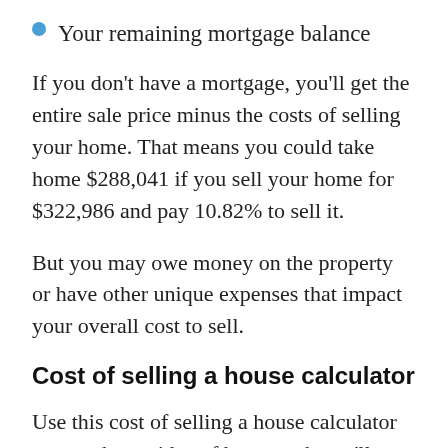Your remaining mortgage balance
If you don't have a mortgage, you'll get the entire sale price minus the costs of selling your home. That means you could take home $288,041 if you sell your home for $322,986 and pay 10.82% to sell it.
But you may owe money on the property or have other unique expenses that impact your overall cost to sell.
Cost of selling a house calculator
Use this cost of selling a house calculator to get a better idea of how much you'll have to spend to sell your home — and how much you'll take